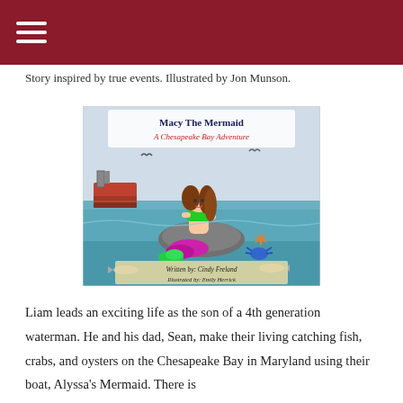Story inspired by true events. Illustrated by Jon Munson.
[Figure (illustration): Book cover of 'Macy The Mermaid: A Chesapeake Bay Adventure'. Shows a cartoon mermaid girl with long brown hair, green top, and purple/green tail sitting on a rock in the Chesapeake Bay. A fishing boat is visible on the left, seagulls fly above, and there is a crab and starfish near the rock. Fish swim near the bottom. Text reads 'Written by: Cindy Freland' and 'Illustrated by: Emily Herrick'.]
Liam leads an exciting life as the son of a 4th generation waterman. He and his dad, Sean, make their living catching fish, crabs, and oysters on the Chesapeake Bay in Maryland using their boat, Alyssa's Mermaid. There is